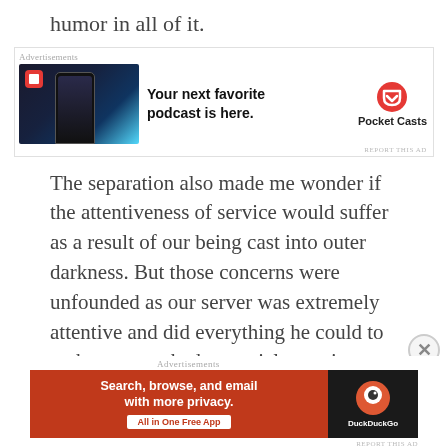humor in all of it.
[Figure (other): Pocket Casts advertisement banner with phone image, text 'Your next favorite podcast is here.' and Pocket Casts logo]
The separation also made me wonder if the attentiveness of service would suffer as a result of our being cast into outer darkness. But those concerns were unfounded as our server was extremely attentive and did everything he could to make sure we had a special experience at Wildwood.
My advice is as follows: if you want a busy, loud
[Figure (other): DuckDuckGo advertisement banner: 'Search, browse, and email with more privacy. All in One Free App' on red background with DuckDuckGo logo on dark background]